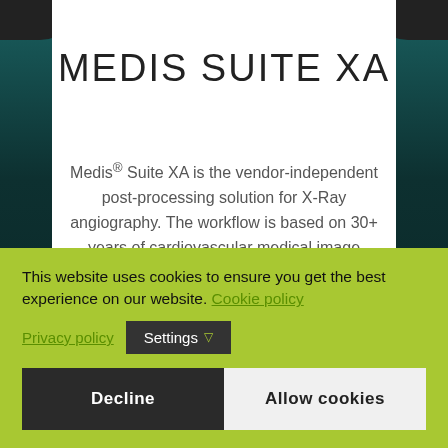MEDIS SUITE XA
Medis® Suite XA is the vendor-independent post-processing solution for X-Ray angiography. The workflow is based on 30+ years of cardiovascular medical image analysis.
This website uses cookies to ensure you get the best experience on our website. Cookie policy
Privacy policy  Settings ▽
Decline   Allow cookies